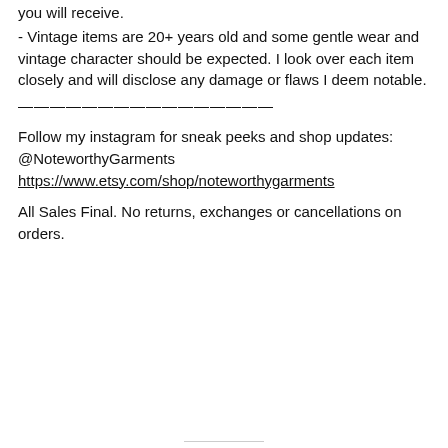you will receive.
- Vintage items are 20+ years old and some gentle wear and vintage character should be expected. I look over each item closely and will disclose any damage or flaws I deem notable.
————————————————
Follow my instagram for sneak peeks and shop updates: @NoteworthyGarments
https://www.etsy.com/shop/noteworthygarments
All Sales Final. No returns, exchanges or cancellations on orders.